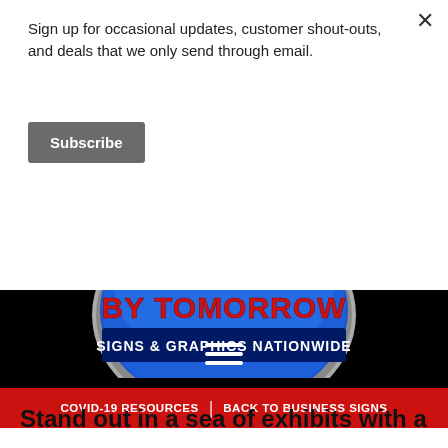Sign up for occasional updates, customer shout-outs, and deals that we only send through email.
Subscribe
[Figure (logo): Signs By Tomorrow - Signs & Graphics Nationwide circular logo with blue background and red text on black header background with hamburger menu]
COVID-19 RESOURCES | BACK TO BUSINESS SIGNS
Stand out in a sea of exhibits with a